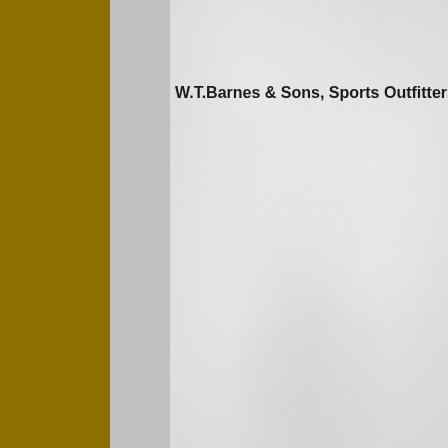W.T.Barnes & Sons, Sports Outfitters